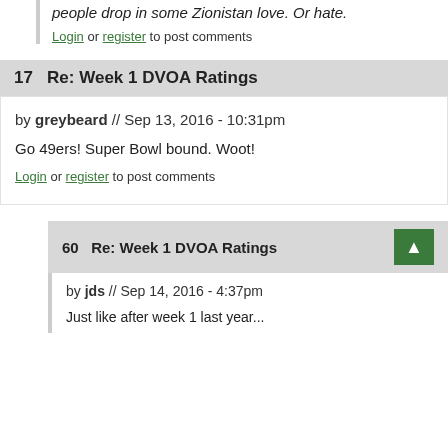people drop in some Zionistan love. Or hate.
Login or register to post comments
17   Re: Week 1 DVOA Ratings
by greybeard // Sep 13, 2016 - 10:31pm
Go 49ers! Super Bowl bound. Woot!
Login or register to post comments
60   Re: Week 1 DVOA Ratings
by jds // Sep 14, 2016 - 4:37pm
Just like after week 1 last year...